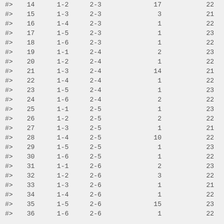| #> |  |  |  |  |  |
| --- | --- | --- | --- | --- | --- |
| #> | 14 | 1-2 | 2-3 | 17 | 22 |
| #> | 15 | 1-3 | 2-3 | 3 | 21 |
| #> | 16 | 1-4 | 2-3 | 1 | 22 |
| #> | 17 | 1-5 | 2-3 | 1 | 23 |
| #> | 18 | 1-6 | 2-3 | 1 | 22 |
| #> | 19 | 1-1 | 2-4 | 2 | 23 |
| #> | 20 | 1-2 | 2-4 | 1 | 22 |
| #> | 21 | 1-3 | 2-4 | 14 | 21 |
| #> | 22 | 1-4 | 2-4 | 1 | 22 |
| #> | 23 | 1-5 | 2-4 | 1 | 23 |
| #> | 24 | 1-6 | 2-4 | 2 | 22 |
| #> | 25 | 1-1 | 2-5 | 1 | 23 |
| #> | 26 | 1-2 | 2-5 | 2 | 22 |
| #> | 27 | 1-3 | 2-5 | 1 | 21 |
| #> | 28 | 1-4 | 2-5 | 10 | 22 |
| #> | 29 | 1-5 | 2-5 | 1 | 23 |
| #> | 30 | 1-6 | 2-5 | 1 | 22 |
| #> | 31 | 1-1 | 2-6 | 2 | 23 |
| #> | 32 | 1-2 | 2-6 | 3 | 22 |
| #> | 33 | 1-3 | 2-6 | 1 | 21 |
| #> | 34 | 1-4 | 2-6 | 1 | 22 |
| #> | 35 | 1-5 | 2-6 | 15 | 23 |
| #> | 36 | 1-6 | 2-6 | 1 | 22 |